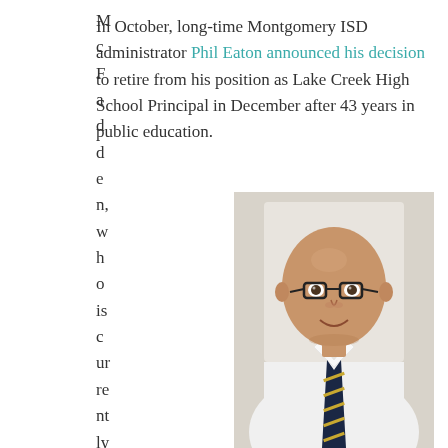In October, long-time Montgomery ISD administrator Phil Eaton announced his decision to retire from his position as Lake Creek High School Principal in December after 43 years in public education.
McFadden, who is currently the district's Assistant Superintendent
[Figure (photo): Portrait photo of a bald middle-aged man wearing glasses, a white dress shirt, and a navy/gold striped tie, seated in front of a light-colored wall.]